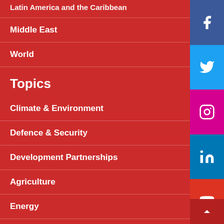Latin America and the Caribbean
Middle East
World
Topics
Climate & Environment
Defence & Security
Development Partnerships
Agriculture
Energy
Health
Politics & Government
Science & Technology